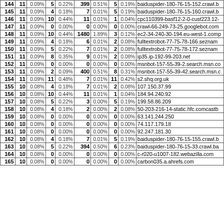| # | col1 | % | col2 | % | col3 | % | col4 | % | host |
| --- | --- | --- | --- | --- | --- | --- | --- | --- | --- |
| 144 | 11 | 0.09% | 5 | 0.22% | 399 | 0.51% | 5 | 0.19% | baiduspider-180-76-15-152.crawl.b... |
| 145 | 11 | 0.09% | 4 | 0.18% | 7 | 0.01% | 5 | 0.19% | baiduspider-180-76-15-160.crawl.b... |
| 146 | 11 | 0.09% | 10 | 0.44% | 11 | 0.01% | 1 | 0.04% | cpc110399-basf12-2-0-cust223.12-... |
| 147 | 11 | 0.09% | 0 | 0.00% | 0 | 0.00% | 0 | 0.00% | crawl-66-249-73-25.googlebot.com |
| 148 | 11 | 0.09% | 10 | 0.44% | 1480 | 1.89% | 3 | 0.12% | ec2-34-240-30-194.eu-west-1.comp... |
| 149 | 11 | 0.09% | 4 | 0.18% | 6 | 0.01% | 2 | 0.08% | fulltextrobot-77-75-78-166.seznam... |
| 150 | 11 | 0.09% | 5 | 0.22% | 7 | 0.01% | 2 | 0.08% | fulltextrobot-77-75-78-172.seznam... |
| 151 | 11 | 0.09% | 8 | 0.35% | 9 | 0.01% | 2 | 0.08% | ip35.ip-192-99-203.net |
| 152 | 11 | 0.09% | 0 | 0.00% | 0 | 0.00% | 0 | 0.00% | msnbot-157-55-39-2.search.msn.co... |
| 153 | 11 | 0.09% | 2 | 0.09% | 400 | 0.51% | 8 | 0.31% | msnbot-157-55-39-42.search.msn.c... |
| 154 | 11 | 0.09% | 11 | 0.48% | 7 | 0.01% | 11 | 0.42% | s2.shq.org.uk |
| 155 | 10 | 0.08% | 4 | 0.18% | 7 | 0.01% | 2 | 0.08% | 107.150.37.99 |
| 156 | 10 | 0.08% | 10 | 0.44% | 11 | 0.01% | 1 | 0.04% | 184.94.240.92 |
| 157 | 10 | 0.08% | 5 | 0.22% | 3 | 0.00% | 5 | 0.19% | 199.58.86.209 |
| 158 | 10 | 0.08% | 4 | 0.18% | 2 | 0.00% | 2 | 0.08% | 50-203-216-14-static.hfc.comcastb... |
| 159 | 10 | 0.08% | 0 | 0.00% | 0 | 0.00% | 0 | 0.00% | 63.141.244.250 |
| 160 | 10 | 0.08% | 0 | 0.00% | 0 | 0.00% | 0 | 0.00% | 74.117.179.18 |
| 161 | 10 | 0.08% | 0 | 0.00% | 0 | 0.00% | 0 | 0.00% | 92.247.181.30 |
| 162 | 10 | 0.08% | 4 | 0.18% | 7 | 0.01% | 5 | 0.19% | baiduspider-180-76-15-155.crawl.b... |
| 163 | 10 | 0.08% | 5 | 0.22% | 394 | 0.50% | 6 | 0.23% | baiduspider-180-76-15-33.crawl.ba... |
| 164 | 10 | 0.08% | 0 | 0.00% | 0 | 0.00% | 0 | 0.00% | c-r020-u1007-182.webazilla.com |
| 165 | 10 | 0.08% | 0 | 0.00% | 0 | 0.00% | 0 | 0.00% | carbon035.a.ahrefs.com |